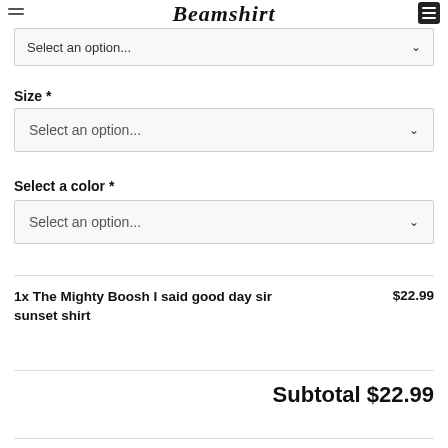Beamshirt
Select an option...
Size *
Select an option...
Select a color *
Select an option...
1x The Mighty Boosh I said good day sir sunset shirt   $22.99
Subtotal $22.99